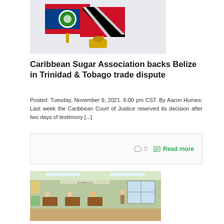[Figure (photo): Two crossed flags pin — Belize flag and Trinidad and Tobago flag crossed together on a gold pin]
Caribbean Sugar Association backs Belize in Trinidad & Tobago trade dispute
Posted: Tuesday, November 9, 2021. 6:00 pm CST. By Aaron Humes: Last week the Caribbean Court of Justice reserved its decision after two days of testimony [...]
0   Read more
[Figure (photo): Classroom scene with students wearing masks seated at wooden desks, teacher standing at right, bright classroom with windows and fluorescent lights]